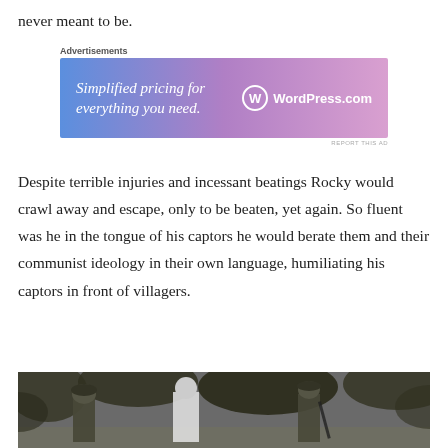never meant to be.
[Figure (other): WordPress.com advertisement banner with text 'Simplified pricing for everything you need.' and WordPress.com logo on a blue-to-pink gradient background]
Despite terrible injuries and incessant beatings Rocky would crawl away and escape, only to be beaten, yet again. So fluent was he in the tongue of his captors he would berate them and their communist ideology in their own language, humiliating his captors in front of villagers.
[Figure (photo): Black and white photograph showing several people outdoors among trees, appearing to be a historical wartime scene.]